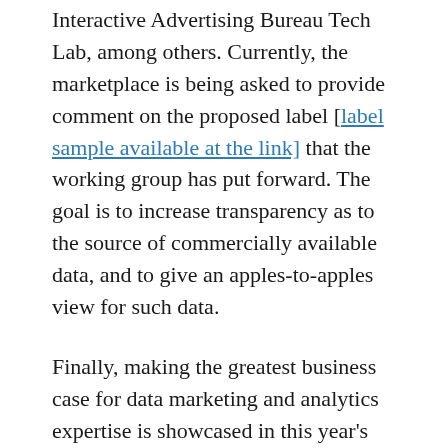Interactive Advertising Bureau Tech Lab, among others. Currently, the marketplace is being asked to provide comment on the proposed label [label sample available at the link] that the working group has put forward. The goal is to increase transparency as to the source of commercially available data, and to give an apples-to-apples view for such data.
Finally, making the greatest business case for data marketing and analytics expertise is showcased in this year's ANA International ECHO Awards. Congratulations are in order for all this year's finalists and winners. DMA members have access to a brief synopsis of each winning campaign, but anyone is free to